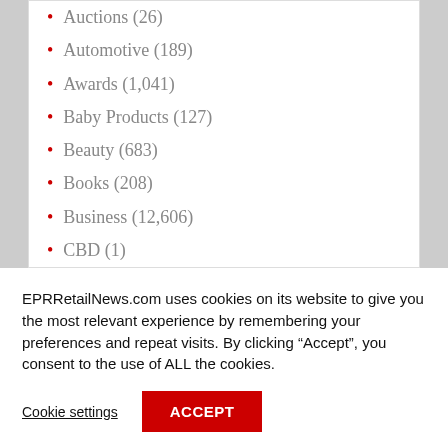Auctions (26)
Automotive (189)
Awards (1,041)
Baby Products (127)
Beauty (683)
Books (208)
Business (12,606)
CBD (1)
EPRRetailNews.com uses cookies on its website to give you the most relevant experience by remembering your preferences and repeat visits. By clicking “Accept”, you consent to the use of ALL the cookies.
Cookie settings
ACCEPT